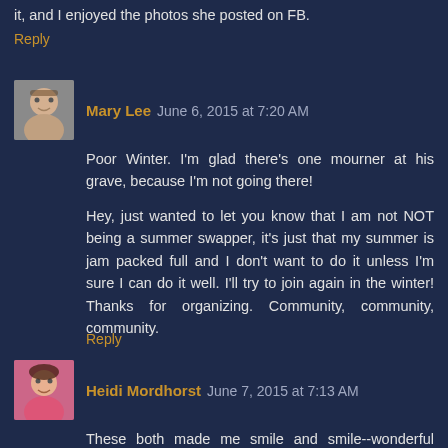it, and I enjoyed the photos she posted on FB.
Reply
Mary Lee  June 6, 2015 at 7:20 AM
Poor Winter. I'm glad there's one mourner at his grave, because I'm not going there!
Hey, just wanted to let you know that I am not NOT being a summer swapper, it's just that my summer is jam packed full and I don't want to do it unless I'm sure I can do it well. I'll try to join again in the winter! Thanks for organizing. Community, community, community.
Reply
Heidi Mordhorst  June 7, 2015 at 7:13 AM
These both made me smile and smile--wonderful poems for all the usual reasons, but also because they're perfectly intelligible English with a slight but very evident "otherness" in the language.